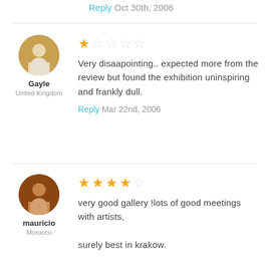Reply Oct 30th, 2006
Gayle
United Kingdom
★☆☆☆☆
Very disaapointing.. expected more from the review but found the exhibition uninspiring and frankly dull.
Reply Mar 22nd, 2006
mauricio
Morocco
★★★★☆
very good gallery !lots of good meetings with artists,
surely best in krakow.